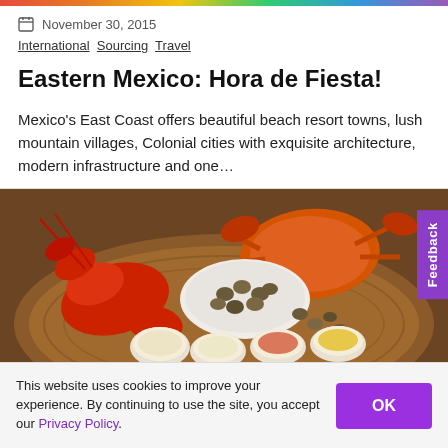[Figure (photo): Colorful top banner strip with rainbow gradient]
November 30, 2015
International Sourcing Travel
Eastern Mexico: Hora de Fiesta!
Mexico's East Coast offers beautiful beach resort towns, lush mountain villages, Colonial cities with exquisite architecture, modern infrastructure and one…
[Figure (photo): Food photograph showing a seafood spread on a wooden table: red lobster, crab, bowl of clams/snails, and dipping sauces in white bowls]
Feedback
This website uses cookies to improve your experience. By continuing to use the site, you accept our Privacy Policy.